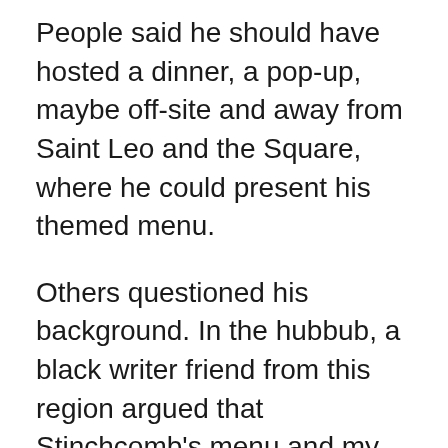People said he should have hosted a dinner, a pop-up, maybe off-site and away from Saint Leo and the Square, where he could present his themed menu.
Others questioned his background. In the hubbub, a black writer friend from this region argued that Stinchcomb's menu and my openness to it were a result of our not being born and raised in the South (I'm from California). She felt that being black and from the South afforded her an inherent knowing of the limits between black and white people. Blackness in America has always been